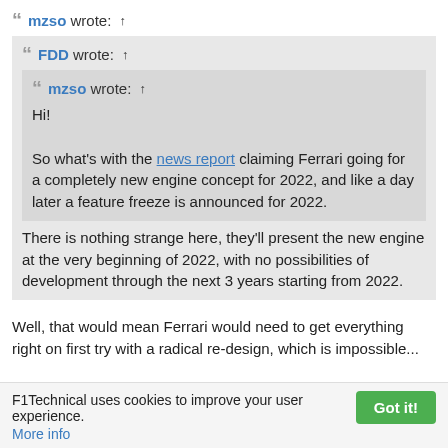mzso wrote: ↑
FDD wrote: ↑
mzso wrote: ↑
Hi!

So what's with the news report claiming Ferrari going for a completely new engine concept for 2022, and like a day later a feature freeze is announced for 2022.
There is nothing strange here, they'll present the new engine at the very beginning of 2022, with no possibilities of development through the next 3 years starting from 2022.
Well, that would mean Ferrari would need to get everything right on first try with a radical re-design, which is impossible...
F1Technical uses cookies to improve your user experience.
More info